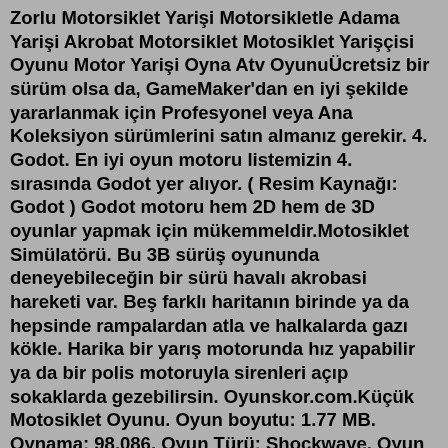Zorlu Motorsiklet Yarişi Motorsikletle Adama Yarişi Akrobat Motorsiklet Motosiklet Yarişçisi Oyunu Motor Yarişi Oyna Atv OyunuÜcretsiz bir sürüm olsa da, GameMaker'dan en iyi şekilde yararlanmak için Profesyonel veya Ana Koleksiyon sürümlerini satın almanız gerekir. 4. Godot. En iyi oyun motoru listemizin 4. sırasında Godot yer alıyor. ( Resim Kaynağı: Godot ) Godot motoru hem 2D hem de 3D oyunlar yapmak için mükemmeldir.Motosiklet Simülatörü. Bu 3B sürüş oyununda deneyebileceğin bir sürü havalı akrobasi hareketi var. Beş farklı haritanın birinde ya da hepsinde rampalardan atla ve halkalarda gazı kökle. Harika bir yarış motorunda hız yapabilir ya da bir polis motoruyla sirenleri açıp sokaklarda gezebilirsin. Oyunskor.com.Küçük Motosiklet Oyunu. Oyun boyutu: 1.77 MB. Oynama: 98.086. Oyun Türü: Shockwave. Oyun Beğenilme: %67. Motosiklet kullanmayı seven oyuncularımız, sıra küçük motosiklet sürmeye geldi. 3D Oyun Nasıl Oynanır. 3d oyunlar sitemizde yayınladığımız 3d motor oyunları kategorisine dahil olan küçük